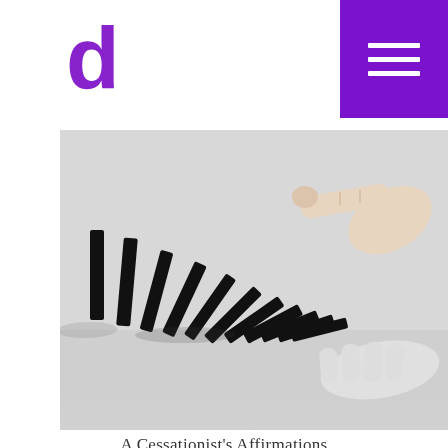d [logo] | menu button
[Figure (photo): A hand pointing at a row of falling black domino tiles from the right side, with another hand open below. The dominoes are in sequence of falling on a white reflective surface.]
A Cessationist’s Affirmations
August 13, 2013
[Figure (illustration): A light gray card with a pencil/edit icon in the center and a back-to-top arrow button in the bottom right corner.]